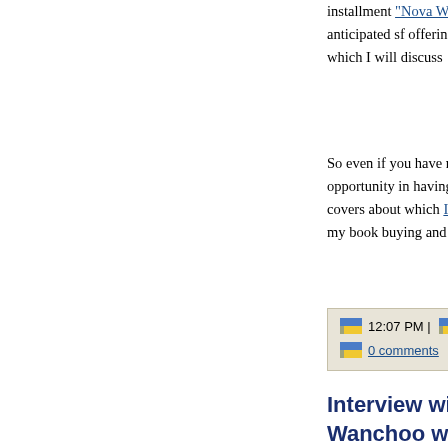installment "Nova War" is anticipated sf offerings of which I will discuss "Steal
So even if you have not opportunity in having you covers about which I have my book buying and readin
12:07 PM | Posted by L
0 comments
Interview with D Wanchoo with s